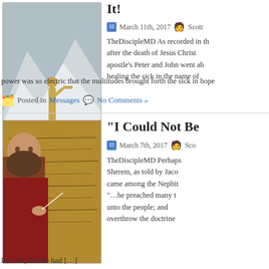[Figure (photo): Golden statue standing on a sphere atop snowy mountains]
It!
March 11th, 2017  Scott
TheDiscipleMD As recorded in the after the death of Jesus Christ apostle's Peter and John went ab healing the sick in the name of power was so electric that the multitudes brought forth the sick in hope
Posted in Messages  No Comments »
[Figure (photo): Bearded man in red robe writing on ancient manuscript]
“I Could Not Be
March 7th, 2017  Sco
TheDiscipleMD Perhaps Sherem, as told by Jaco came among the Nephit “…he preached many t unto the people; and overthrow the doctrine
learned, that he had […]